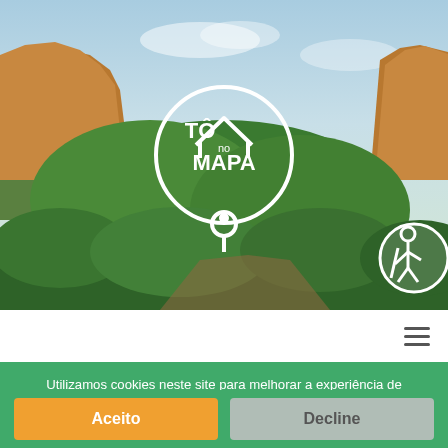[Figure (photo): Landscape photo of rocky mesa cliffs with green forested hills and blue sky. White logo overlay reads 'TÔ no MAPA' with a location pin icon. A hiker icon is visible on the right side.]
[Figure (logo): TÔ no MAPA circular logo with location pin, white, overlaid on hero photo]
Utilizamos cookies neste site para melhorar a experiência de usuário. Adicionalmente, recomendamos a leitura da nossa Política de Privacidade.
Aceito
Decline